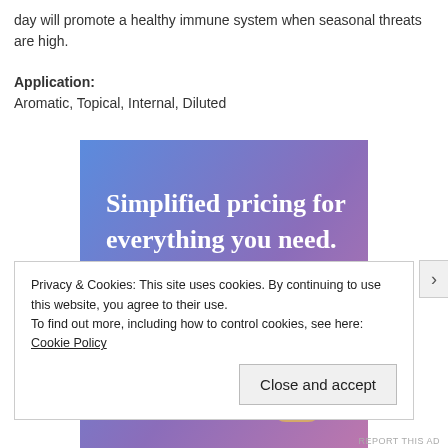day will promote a healthy immune system when seasonal threats are high.
Application:
Aromatic, Topical, Internal, Diluted
[Figure (screenshot): Advertisement banner with blue-to-purple gradient background. Text reads 'Simplified pricing for everything you need.' with a pink 'Build Your Website' button and a decorative price tag graphic on the right.]
Privacy & Cookies: This site uses cookies. By continuing to use this website, you agree to their use.
To find out more, including how to control cookies, see here: Cookie Policy
Close and accept